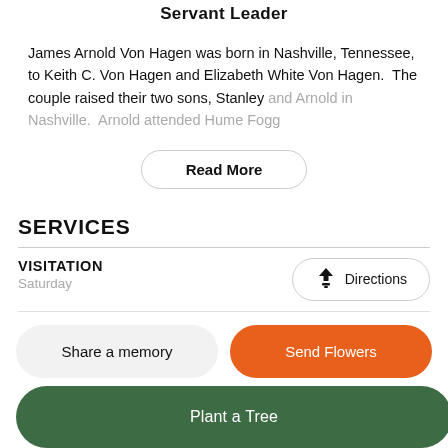Servant Leader
James Arnold Von Hagen was born in Nashville, Tennessee, to Keith C. Von Hagen and Elizabeth White Von Hagen.  The couple raised their two sons, Stanley and Arnold in Nashville.  Arnold attended Hume Fogg
Read More
SERVICES
VISITATION
Saturday
Directions
Share a memory
Send Flowers
Plant a Tree